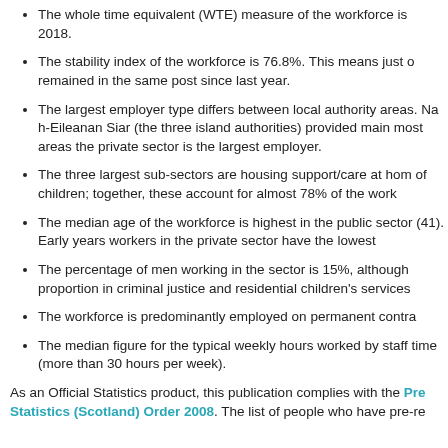The whole time equivalent (WTE) measure of the workforce is 2018.
The stability index of the workforce is 76.8%. This means just o remained in the same post since last year.
The largest employer type differs between local authority areas. Na h-Eileanan Siar (the three island authorities) provided main most areas the private sector is the largest employer.
The three largest sub-sectors are housing support/care at hom of children; together, these account for almost 78% of the work
The median age of the workforce is highest in the public sector (41). Early years workers in the private sector have the lowest
The percentage of men working in the sector is 15%, although proportion in criminal justice and residential children's services
The workforce is predominantly employed on permanent contra
The median figure for the typical weekly hours worked by staff time (more than 30 hours per week).
As an Official Statistics product, this publication complies with the Pre Statistics (Scotland) Order 2008. The list of people who have pre-re